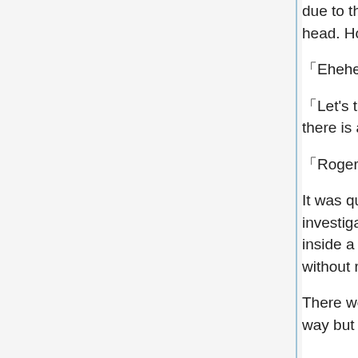due to the cloth covering her, so it didn't really feel like he was patting her head. However Sylvia's eyes were smiling.
「Ehehe……what should we do next desu?」
「Let's try looking at the pyramid. It's desert at the other side, so perhaps there is a large facility underground.」
「Roger desu.」
It was quite far but they traveled by walking. They could travel while investigating the surrounding, and in the slightest chance they got attacked inside a bus, they had no confidence that they would be able to solve it without resulting in any injured people.
There were several large warehouses that seemed to be a facility along the way but none of them was for